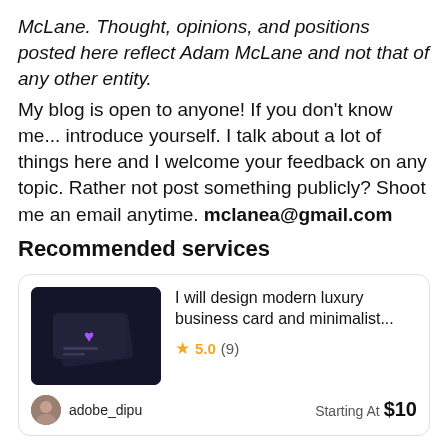McLane. Thought, opinions, and positions posted here reflect Adam McLane and not that of any other entity.
My blog is open to anyone! If you don't know me... introduce yourself. I talk about a lot of things here and I welcome your feedback on any topic. Rather not post something publicly? Shoot me an email anytime. mclanea@gmail.com
Recommended services
[Figure (illustration): Dark themed business card mockup with purple heart icon]
I will design modern luxury business card and minimalist...
★ 5.0 (9)
adobe_dipu  Starting At $10